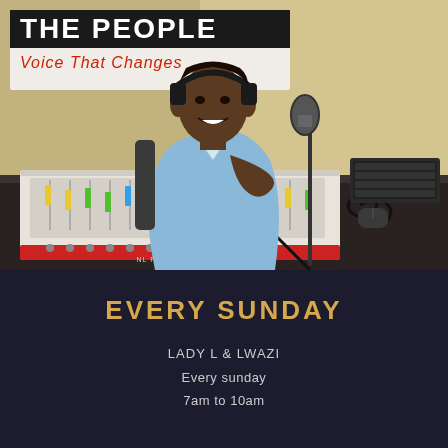[Figure (photo): A young man wearing headphones sits at a radio studio desk with a mixing board/audio mixer in front of him and a microphone stand to his right. Behind him is a banner reading 'THE PEOPLE - Voice That Changes'. A computer keyboard is visible on the right side of the desk. The studio has beige/yellow walls.]
EVERY SUNDAY
LADY L & LWAZI
Every sunday
7am to 10am